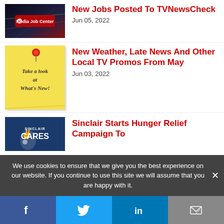[Figure (logo): Media Job Center banner image with city lights background]
New Jobs Posted To TVNewsCheck
Jun 05, 2022
[Figure (illustration): Yellow sticky note with red pushpin reading Take a look at What's New!]
New Weather, Late News And Other Local TV Promos From May
Jun 03, 2022
[Figure (logo): Sinclair Cares logo on dark blue background]
Sinclair Starts Hunger Relief Campaign To
We use cookies to ensure that we give you the best experience on our website. If you continue to use this site we will assume that you are happy with it.
Facebook | Twitter | LinkedIn | Email